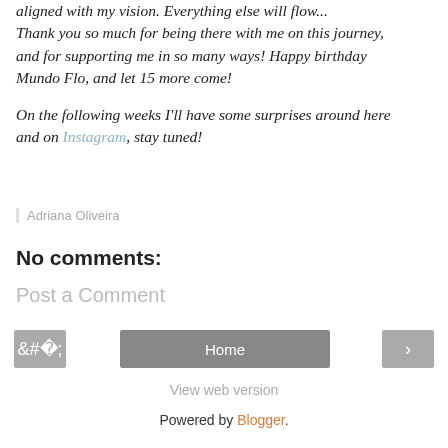aligned with my vision. Everything else will flow... Thank you so much for being there with me on this journey, and for supporting me in so many ways! Happy birthday Mundo Flo, and let 15 more come!
On the following weeks I'll have some surprises around here and on Instagram, stay tuned!
Adriana Oliveira
No comments:
Post a Comment
Home
View web version
Powered by Blogger.